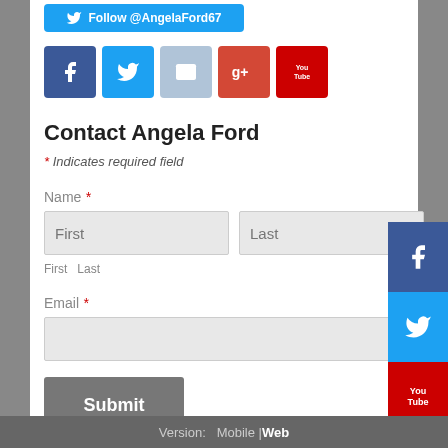[Figure (screenshot): Twitter Follow @AngelaFord67 button (blue, rounded)]
[Figure (screenshot): Row of social media icon buttons: Facebook (dark blue), Twitter (light blue), Email/Mail (light blue-grey), Google+ (red), YouTube (red)]
Contact Angela Ford
* Indicates required field
Name *
First
Last
First
Last
Email *
[Figure (screenshot): Floating social sidebar with Facebook, Twitter, and YouTube icons on the right edge]
Version:  Mobile | Web